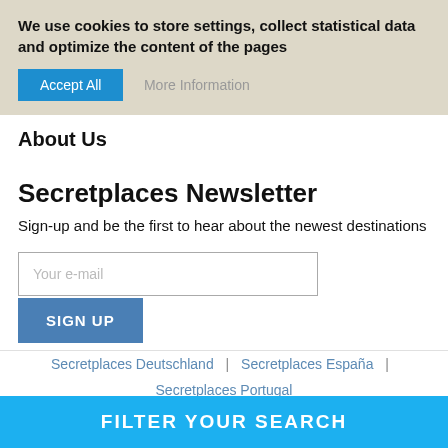We use cookies to store settings, collect statistical data and optimize the content of the pages
Accept All   More Information
About Us
Secretplaces Newsletter
Sign-up and be the first to hear about the newest destinations
Your e-mail
SIGN UP
Secretplaces Deutschland  |  Secretplaces España  |
Secretplaces Portugal
FILTER YOUR SEARCH